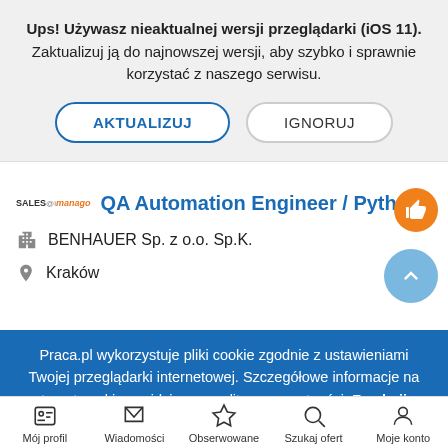Ups! Używasz nieaktualnej wersji przeglądarki (iOS 11). Zaktualizuj ją do najnowszej wersji, aby szybko i sprawnie korzystać z naszego serwisu.
AKTUALIZUJ
IGNORUJ
QA Automation Engineer / Python
BENHAUER Sp. z o.o. Sp.K.
Kraków
Praca.pl wykorzystuje pliki cookie zgodnie z ustawieniami Twojej przeglądarki internetowej. Szczegółowe informacje na temat cookie znajdziesz w politece prywatności. Zamknij
Mój profil | Wiadomości | Obserwowane | Szukaj ofert | Moje konto